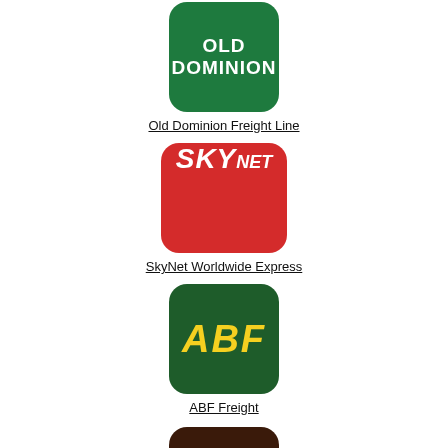[Figure (logo): Old Dominion Freight Line logo: dark green rounded square with white bold text 'OLD DOMINION']
Old Dominion Freight Line
[Figure (logo): SkyNet Worldwide Express logo: red rounded square with white italic text 'SKYnet']
SkyNet Worldwide Express
[Figure (logo): ABF Freight logo: dark green rounded square with yellow italic bold text 'ABF']
ABF Freight
[Figure (logo): Partial logo at bottom: dark brown rounded square, partially cut off]